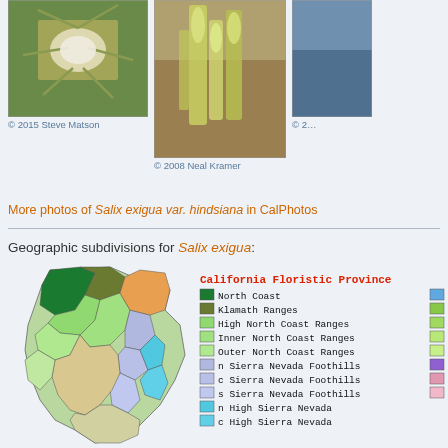[Figure (photo): Close-up photo of Salix exigua var. hindsiana flower/bud with spiky leaves]
© 2015 Steve Matson
[Figure (photo): Photo of Salix exigua var. hindsiana catkins/flowers]
© 2008 Neal Kramer
[Figure (photo): Partial photo cropped on right edge]
© 2…
More photos of Salix exigua var. hindsiana in CalPhotos
Geographic subdivisions for Salix exigua:
[Figure (map): California geographic subdivisions map for Salix exigua showing colored regions for North Coast, Klamath Ranges, High North Coast Ranges, Inner North Coast Ranges, Outer North Coast Ranges, n/c/s Sierra Nevada Foothills, n/c High Sierra Nevada]
California Floristic Province legend: North Coast, Klamath Ranges, High North Coast Ranges, Inner North Coast Ranges, Outer North Coast Ranges, n Sierra Nevada Foothills, c Sierra Nevada Foothills, s Sierra Nevada Foothills, n High Sierra Nevada, c High Sierra Nevada